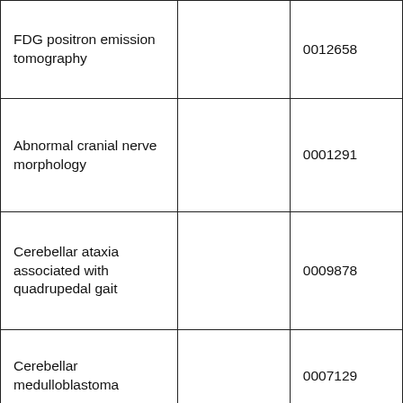| FDG positron emission tomography |  | 0012658 |
| Abnormal cranial nerve morphology |  | 0001291 |
| Cerebellar ataxia associated with quadrupedal gait |  | 0009878 |
| Cerebellar medulloblastoma |  | 0007129 |
| Delayed cranial suture closure |  | 0000270 |
| Dysmetria | Lack of coordination | 0001310 |